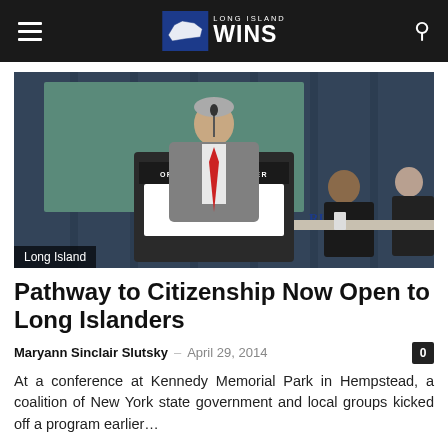Long Island WINS
[Figure (photo): Man in grey suit with red tie speaking at a podium labeled 'Opportunity Center' with New York State Office for New Americans signage. Two other individuals seated behind him. Label 'Long Island' in bottom left.]
Pathway to Citizenship Now Open to Long Islanders
Maryann Sinclair Slutsky – April 29, 2014
At a conference at Kennedy Memorial Park in Hempstead, a coalition of New York state government and local groups kicked off a program earlier…